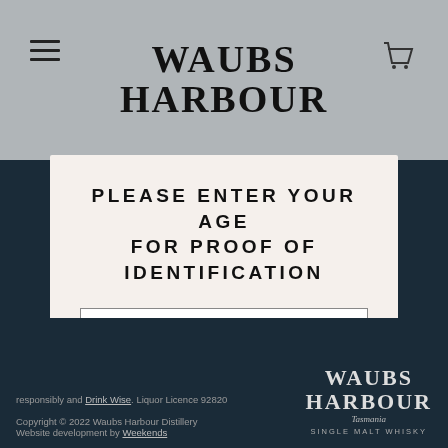WAUBS HARBOUR
PLEASE ENTER YOUR AGE FOR PROOF OF IDENTIFICATION
23.06.1986
ENTER
By pressing enter you are agreeing to our Terms and Conditions and Privacy Policy.
responsibly and Drink Wise. Liquor Licence 92820
Copyright © 2022 Waubs Harbour Distillery
Website development by Weekends
[Figure (logo): Waubs Harbour Single Malt Whisky logo in white/grey on dark navy background, bottom right corner]